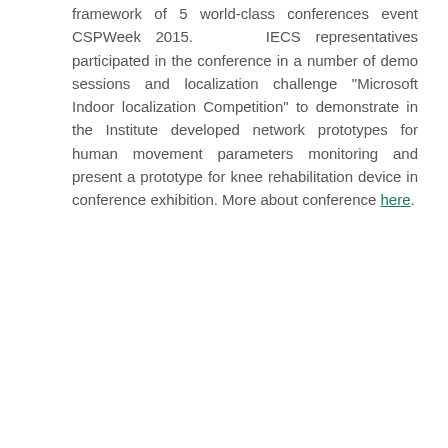framework of 5 world-class conferences event CSPWeek 2015. IECS representatives participated in the conference in a number of demo sessions and localization challenge "Microsoft Indoor localization Competition" to demonstrate in the Institute developed network prototypes for human movement parameters monitoring and present a prototype for knee rehabilitation device in conference exhibition. More about conference here.
[Figure (photo): Conference exhibition hall photo showing people standing and interacting in a large indoor venue with dark ceiling, overhead lights, white pillars, and carpeted floor.]